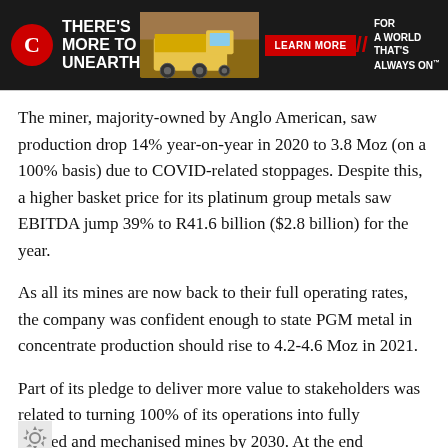[Figure (other): Cummins advertisement banner with logo, tagline 'THERE'S MORE TO UNEARTH', mining truck image, 'LEARN MORE' button, and 'FOR A WORLD THAT'S ALWAYS ON' slogan]
The miner, majority-owned by Anglo American, saw production drop 14% year-on-year in 2020 to 3.8 Moz (on a 100% basis) due to COVID-related stoppages. Despite this, a higher basket price for its platinum group metals saw EBITDA jump 39% to R41.6 billion ($2.8 billion) for the year.
As all its mines are now back to their full operating rates, the company was confident enough to state PGM metal in concentrate production should rise to 4.2-4.6 Moz in 2021.
Part of its pledge to deliver more value to stakeholders was related to turning 100% of its operations into fully modernised and mechanised mines by 2030. At the end